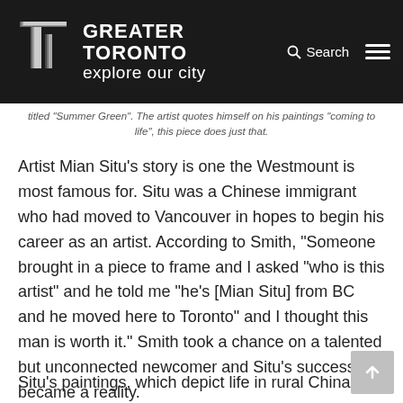GREATER TORONTO explore our city
titled "Summer Green". The artist quotes himself on his paintings "coming to life", this piece does just that.
Artist Mian Situ’s story is one the Westmount is most famous for. Situ was a Chinese immigrant who had moved to Vancouver in hopes to begin his career as an artist. According to Smith, “Someone brought in a piece to frame and I asked “who is this artist” and he told me “he’s [Mian Situ] from BC and he moved here to Toronto” and I thought this man is worth it.” Smith took a chance on a talented but unconnected newcomer and Situ’s success became a reality.
Situ’s paintings, which depict life in rural China and